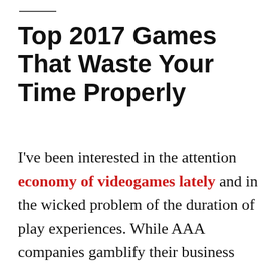Top 2017 Games That Waste Your Time Properly
I've been interested in the attention economy of videogames lately and in the wicked problem of the duration of play experiences. While AAA companies gamblify their business models and compete for the most repulsive and exploitative